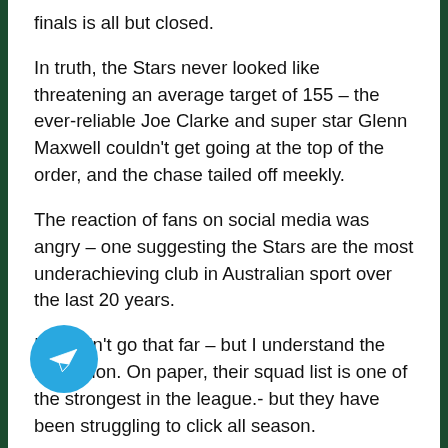finals is all but closed.
In truth, the Stars never looked like threatening an average target of 155 – the ever-reliable Joe Clarke and super star Glenn Maxwell couldn't get going at the top of the order, and the chase tailed off meekly.
The reaction of fans on social media was angry – one suggesting the Stars are the most underachieving club in Australian sport over the last 20 years.
I wouldn't go that far – but I understand the frustration. On paper, their squad list is one of the strongest in the league.- but they have been struggling to click all season.
That being said, I am sticking with the Stars as part of my Melbourne Stars vs Brisbane